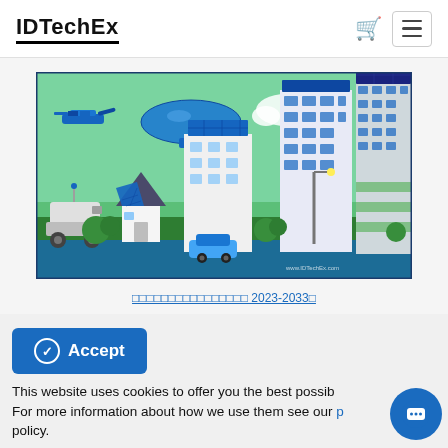IDTechEx
[Figure (illustration): IDTechEx report cover image showing smart city with solar panels on houses, electric vehicles, drones, airships, and commercial buildings with solar arrays, on a green/blue background with www.IDTechEx.com watermark]
□□□□□□□□□□□□□□□□ 2023-2033□
Accept
This website uses cookies to offer you the best possible experience. For more information about how we use them see our privacy policy.